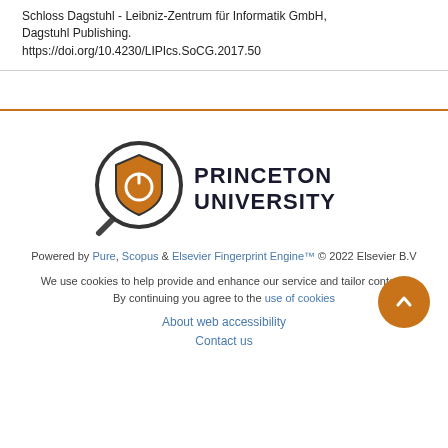Schloss Dagstuhl - Leibniz-Zentrum für Informatik GmbH, Dagstuhl Publishing.
https://doi.org/10.4230/LIPIcs.SoCG.2017.50
[Figure (logo): Princeton University logo with magnifying glass icon and shield]
Powered by Pure, Scopus & Elsevier Fingerprint Engine™ © 2022 Elsevier B.V
We use cookies to help provide and enhance our service and tailor content. By continuing you agree to the use of cookies
About web accessibility
Contact us